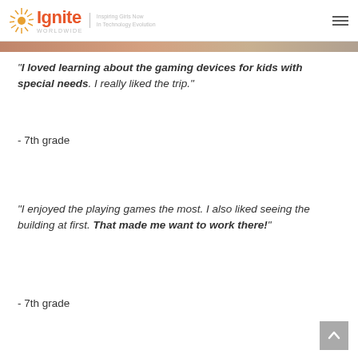Ignite Worldwide — Inspiring Girls Now In Technology Evolution
[Figure (photo): Partial view of a photo strip at the top of the page]
"I loved learning about the gaming devices for kids with special needs. I really liked the trip."
- 7th grade
"I enjoyed the playing games the most. I also liked seeing the building at first. That made me want to work there!"
- 7th grade